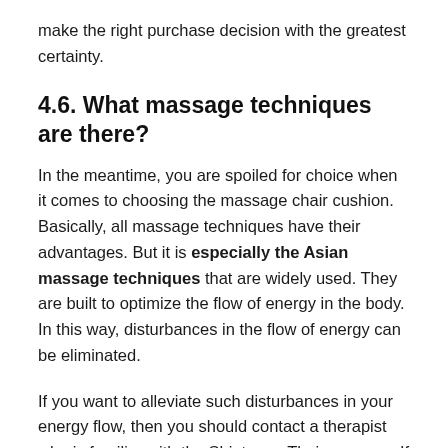make the right purchase decision with the greatest certainty.
4.6. What massage techniques are there?
In the meantime, you are spoiled for choice when it comes to choosing the massage chair cushion. Basically, all massage techniques have their advantages. But it is especially the Asian massage techniques that are widely used. They are built to optimize the flow of energy in the body. In this way, disturbances in the flow of energy can be eliminated.
If you want to alleviate such disturbances in your energy flow, then you should contact a therapist who is familiar with the Shiatsu or Thai massage. If you simply have some slight tension in the back or neck area, you can use a massage sitting position at home to relax. You can of